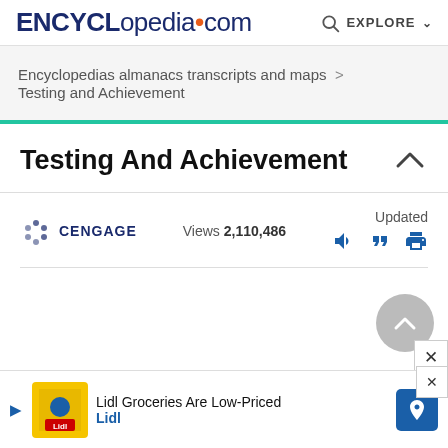ENCYCLopedia.com  EXPLORE
Encyclopedias almanacs transcripts and maps > Testing and Achievement
Testing And Achievement
CENGAGE  Views 2,110,486  Updated
[Figure (screenshot): Lidl Groceries Are Low-Priced advertisement banner with Lidl logo and navigation arrow icon]